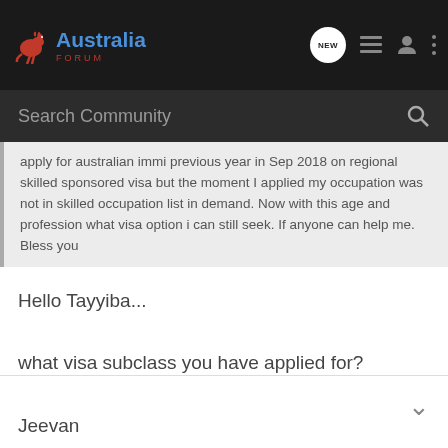Australia Forum
apply for australian immi previous year in Sep 2018 on regional skilled sponsored visa but the moment I applied my occupation was not in skilled occupation list in demand. Now with this age and profession what visa option i can still seek. If anyone can help me. Bless you
Hello Tayyiba...

what visa subclass you have applied for?

Jeevan